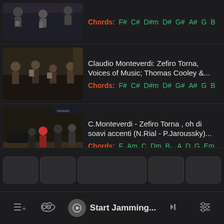[Figure (screenshot): Partial video thumbnail showing orchestra performers, duration 5:44]
Chords: F# C# D#m D# G# A# G B
[Figure (screenshot): Video thumbnail of Voices of Music ensemble performance, duration 5:44]
Claudio Monteverdi: Zefiro Torna, Voices of Music; Thomas Cooley &...
Chords: F# C# D#m D# G# A# G B
[Figure (screenshot): Video thumbnail of chamber ensemble performance, duration 7:26]
C.Monteverdi - Zefiro Torna , oh di soavi accenti (N.Rial - P.Jaroussky)...
Chords: F Am C Dm Bb A D G Em
Start Jamming...